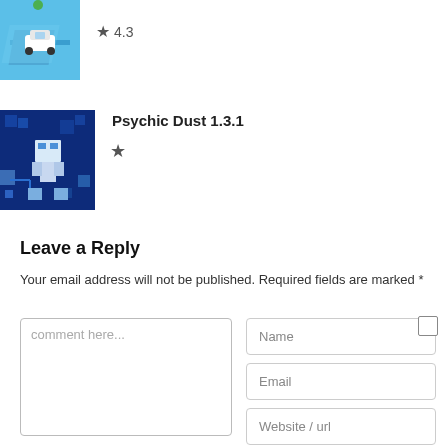[Figure (illustration): Car racing game thumbnail showing a white car on a blue road]
★ 4.3
Psychic Dust 1.3.1
[Figure (illustration): Psychic Dust game thumbnail showing a pixel character on blue background]
★
Leave a Reply
Your email address will not be published. Required fields are marked *
comment here...
Name
Email
Website / url